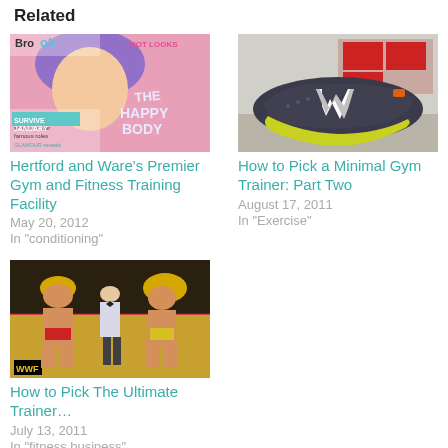Related
[Figure (photo): Magazine cover with woman with purple hair, text: Brook, Hot Looks, The Happy Body Issue, Survive January]
Hertford and Ware's Premier Gym and Fitness Training Facility
May 20, 2012
In "conditioning"
[Figure (photo): New Balance minimal running shoe, dark grey with yellow accents, on display in a store]
How to Pick a Minimal Gym Trainer: Part Two
August 17, 2011
In "Exercise"
[Figure (photo): WWF wrestling scene with Hulk Hogan, a referee, and Ultimate Warrior in a ring]
How to Pick The Ultimate Trainer…
July 13, 2011
In "fitness business"